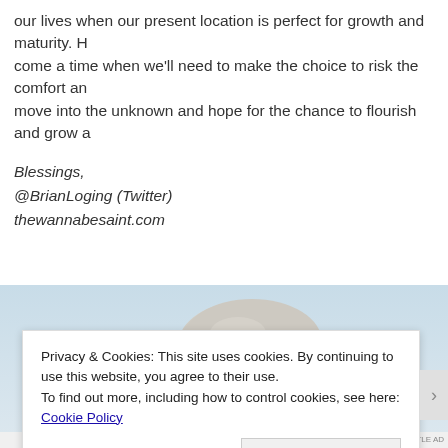our lives when our present location is perfect for growth and maturity. However, there will come a time when we'll need to make the choice to risk the comfort and security and move into the unknown and hope for the chance to flourish and grow and...
Blessings,
@BrianLoging (Twitter)
thewannabesaint.com
[Figure (photo): Stacked smooth gray stones (zen rock balancing) against a light blue sky background]
Privacy & Cookies: This site uses cookies. By continuing to use this website, you agree to their use.
To find out more, including how to control cookies, see here: Cookie Policy
[Close and accept button]